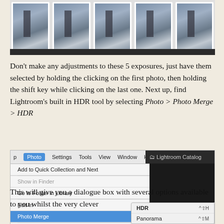[Figure (photo): Film strip of 5 bracketed exposure thumbnails showing a building/pillar against a cloudy sky, displayed in a row with white borders on gray background]
Don't make any adjustments to these 5 exposures, just have them selected by holding the clicking on the first photo, then holding the shift key while clicking on the last one. Next up, find Lightroom's built in HDR tool by selecting Photo > Photo Merge > HDR
[Figure (screenshot): Lightroom menu screenshot showing Photo menu expanded with Photo Merge submenu open, highlighting HDR option with keyboard shortcut ^⇧H, also showing Panorama option with ^⇧M]
This will give you a dialogue box with several options available to you whilst the very clever